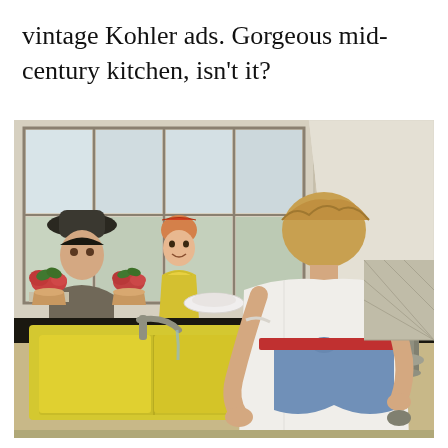vintage Kohler ads. Gorgeous mid-century kitchen, isn't it?
[Figure (illustration): Vintage mid-century Kohler advertisement illustration showing a woman in a white dress and blue apron standing at a yellow kitchen sink. Through the window above the sink, a man in a hat and a young girl in a yellow dress can be seen. The kitchen features patterned wallpaper/tile, white cabinets, and potted flowers on the windowsill.]